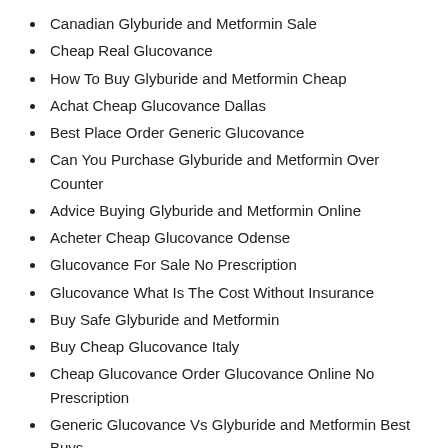Canadian Glyburide and Metformin Sale
Cheap Real Glucovance
How To Buy Glyburide and Metformin Cheap
Achat Cheap Glucovance Dallas
Best Place Order Generic Glucovance
Can You Purchase Glyburide and Metformin Over Counter
Advice Buying Glyburide and Metformin Online
Acheter Cheap Glucovance Odense
Glucovance For Sale No Prescription
Glucovance What Is The Cost Without Insurance
Buy Safe Glyburide and Metformin
Buy Cheap Glucovance Italy
Cheap Glucovance Order Glucovance Online No Prescription
Generic Glucovance Vs Glyburide and Metformin Best Buys
Buy Glyburide and Metformin Original Online No Prescription